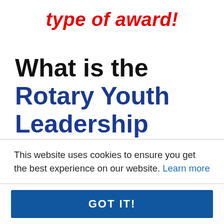type of award!
What is the Rotary Youth Leadership Award?
Information for students
This website uses cookies to ensure you get the best experience on our website. Learn more
GOT IT!